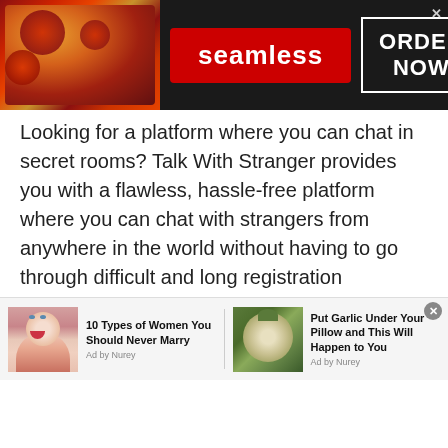[Figure (photo): Seamless food delivery advertisement banner with pizza image on left, red Seamless logo badge in center, and ORDER NOW box on right, dark background]
Looking for a platform where you can chat in secret rooms? Talk With Stranger provides you with a flawless, hassle-free platform where you can chat with strangers from anywhere in the world without having to go through difficult and long registration processes.
Talk With Stranger provides you with the freedom to create your own chat rooms to provide you with a safe space where you can chat with one or more people. But why should you switch to Talk With Stranger from
[Figure (photo): Bottom advertisement strip with two ads: '10 Types of Women You Should Never Marry' with woman's face photo, and 'Put Garlic Under Your Pillow and This Will Happen to You' with garlic photo. Both labeled 'Ad by Nurey'.]